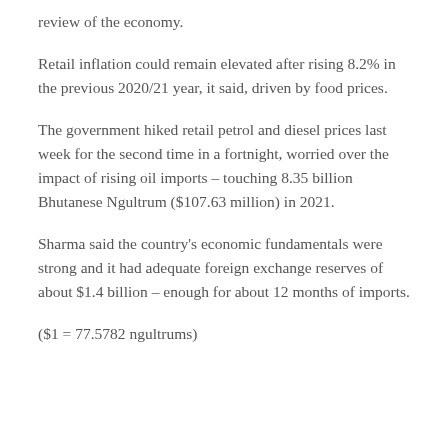review of the economy.
Retail inflation could remain elevated after rising 8.2% in the previous 2020/21 year, it said, driven by food prices.
The government hiked retail petrol and diesel prices last week for the second time in a fortnight, worried over the impact of rising oil imports – touching 8.35 billion Bhutanese Ngultrum ($107.63 million) in 2021.
Sharma said the country's economic fundamentals were strong and it had adequate foreign exchange reserves of about $1.4 billion – enough for about 12 months of imports.
($1 = 77.5782 ngultrums)